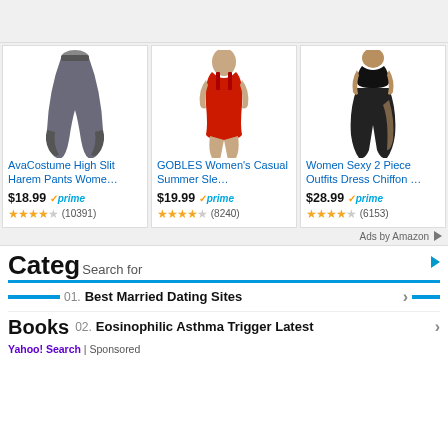[Figure (screenshot): Amazon product ad - AvaCostume High Slit Harem Pants with model wearing gray harem pants]
AvaCostume High Slit Harem Pants Wome…
$18.99 ✓prime
★★★★☆ (10391)
[Figure (screenshot): Amazon product ad - GOBLES Women's Casual Summer Sleeveless dress in red]
GOBLES Women's Casual Summer Sle…
$19.99 ✓prime
★★★★☆ (8240)
[Figure (screenshot): Amazon product ad - Women Sexy 2 Piece Outfits Dress Chiffon in black]
Women Sexy 2 Piece Outfits Dress Chiffon …
$28.99 ✓prime
★★★★☆ (6153)
Ads by Amazon
Categ
Search for
01. Best Married Dating Sites
Books
02. Eosinophilic Asthma Trigger Latest
Yahoo! Search | Sponsored